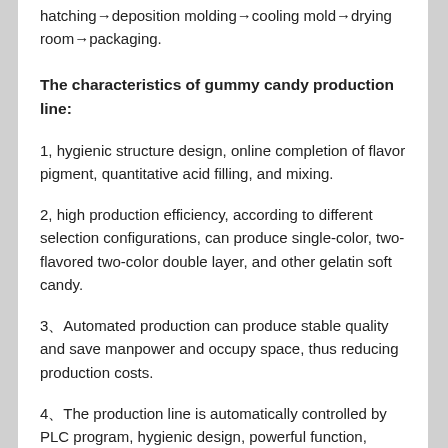hatching→deposition molding→cooling mold→drying room→packaging.
The characteristics of gummy candy production line:
1, hygienic structure design, online completion of flavor pigment, quantitative acid filling, and mixing.
2, high production efficiency, according to different selection configurations, can produce single-color, two-flavored two-color double layer, and other gelatin soft candy.
3、Automated production can produce stable quality and save manpower and occupy space, thus reducing production costs.
4、The production line is automatically controlled by PLC program, hygienic design, powerful function, compact and reasonable structure, beautiful appearance.
5、The whole production line is manufactured according to